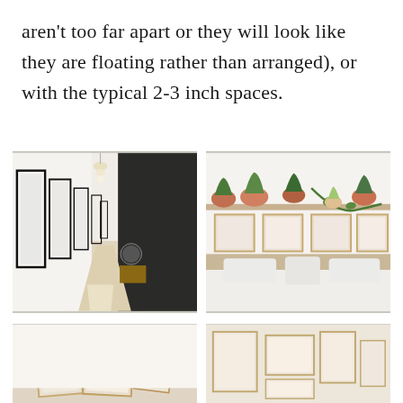aren't too far apart or they will look like they are floating rather than arranged), or with the typical 2-3 inch spaces.
[Figure (photo): Interior hallway with framed black and white artwork hung along white wall on the left, black wall on the right, pendant light fixture, light wood floor leading to vanishing point.]
[Figure (photo): Bedroom headboard wall with a shelf above holding potted green plants in terracotta pots, and four framed botanical prints below. Bed with white pillows and linen bedding below.]
[Figure (photo): Partial view of a room with framed artwork in light wood frames leaning against a white wall, warm toned floor.]
[Figure (photo): Partial view of a room with framed prints in warm neutral tones arranged on a wall, light beige background.]